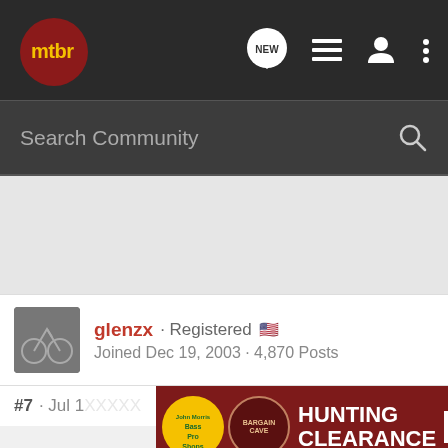[Figure (logo): MTBR logo - red circle with mountain bike silhouette and yellow 'mtbr' text on dark background nav bar]
Search Community
[Figure (screenshot): Gray advertisement placeholder area]
glenzx · Registered 🇺🇸
Joined Dec 19, 2003 · 4,870 Posts
#7 · Jul
[Figure (photo): Bass Pro Shops advertisement banner - HUNTING BARGAIN CAVE CLEARANCE SHOP NOW on dark red background]